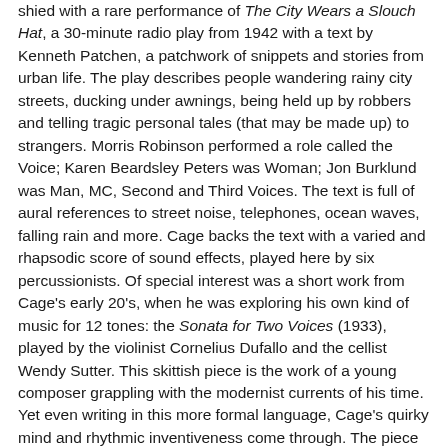shied with a rare performance of The City Wears a Slouch Hat, a 30-minute radio play from 1942 with a text by Kenneth Patchen, a patchwork of snippets and stories from urban life. The play describes people wandering rainy city streets, ducking under awnings, being held up by robbers and telling tragic personal tales (that may be made up) to strangers. Morris Robinson performed a role called the Voice; Karen Beardsley Peters was Woman; Jon Burklund was Man, MC, Second and Third Voices. The text is full of aural references to street noise, telephones, ocean waves, falling rain and more. Cage backs the text with a varied and rhapsodic score of sound effects, played here by six percussionists. Of special interest was a short work from Cage's early 20's, when he was exploring his own kind of music for 12 tones: the Sonata for Two Voices (1933), played by the violinist Cornelius Dufallo and the cellist Wendy Sutter. This skittish piece is the work of a young composer grappling with the modernist currents of his time. Yet even writing in this more formal language, Cage's quirky mind and rhythmic inventiveness come through. The piece suggests another path he might have taken. Thankfully, he found his own way" [Anthony Tommasini, The New York Times, 9/6/12].